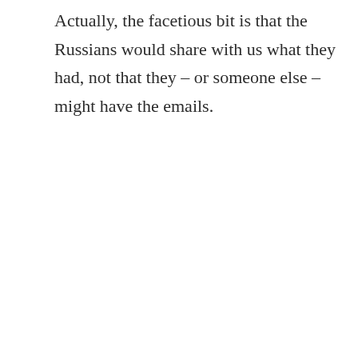Actually, the facetious bit is that the Russians would share with us what they had, not that they – or someone else – might have the emails.
REPLY
[Figure (photo): Circular avatar photo of Jack Marshall, a bald man wearing glasses and a dark jacket with a white shirt, against a dark background.]
Jack Marshall
OCTOBER 11, 2018 AT 5:11 AM